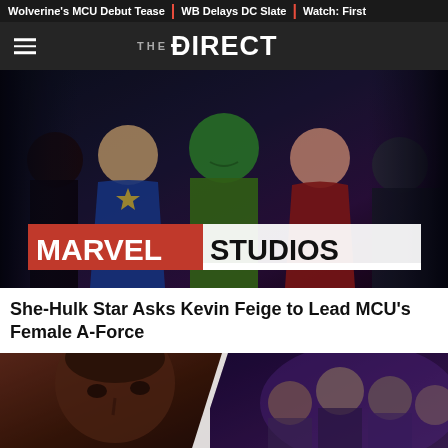Wolverine's MCU Debut Tease | WB Delays DC Slate | Watch: First
[Figure (logo): The Direct website logo with hamburger menu]
[Figure (photo): Marvel Studios promotional image featuring She-Hulk, Captain Marvel, Scarlet Witch and other MCU female heroes with Marvel Studios banner logo]
She-Hulk Star Asks Kevin Feige to Lead MCU's Female A-Force
[Figure (photo): Split image showing a Black man's face on the left and MCU Avengers group photo on the right]